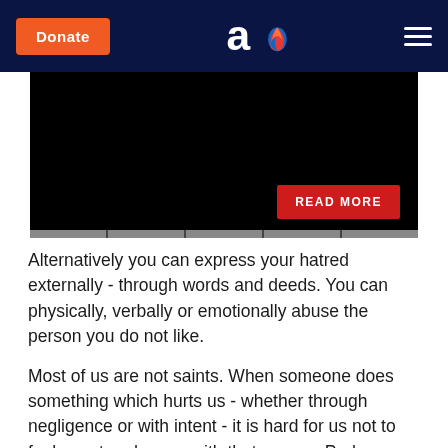Donate | [logo] | [menu]
[Figure (screenshot): Dark hero image area with a red 'READ MORE' button at bottom right]
Alternatively you can express your hatred externally - through words and deeds. You can physically, verbally or emotionally abuse the person you do not like.
Most of us are not saints. When someone does something which hurts us - whether through negligence or with intent - it is hard for us not to feel upset and angry with that person. Perhaps we might even feel animosity. This is normal human emotion and there is nothing wrong with it. The question is how one